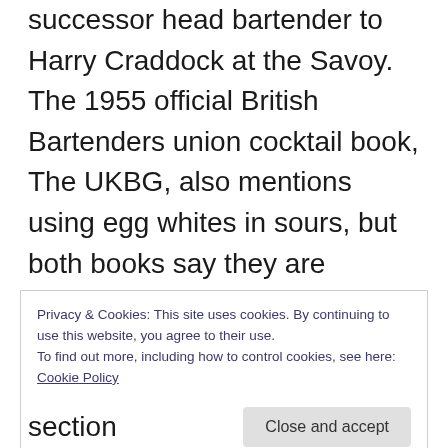successor head bartender to Harry Craddock at the Savoy. The 1955 official British Bartenders union cocktail book, The UKBG, also mentions using egg whites in sours, but both books say they are optional and not traditional. Assumedly egg whites were added upon request and not the usual way a whiskey sour was made. Keep in mind Harry Craddock, 1920 – the 40s, did
Privacy & Cookies: This site uses cookies. By continuing to use this website, you agree to their use.
To find out more, including how to control cookies, see here: Cookie Policy
section